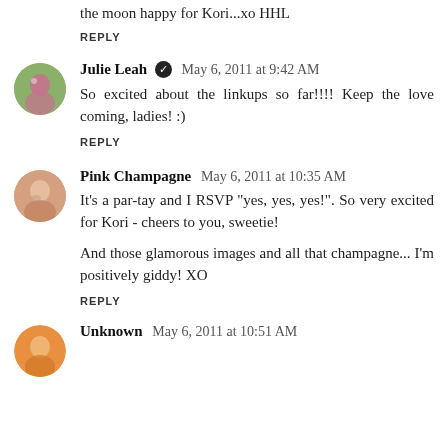the moon happy for Kori...xo HHL
REPLY
Julie Leah ✔ May 6, 2011 at 9:42 AM
So excited about the linkups so far!!!! Keep the love coming, ladies! :)
REPLY
Pink Champagne May 6, 2011 at 10:35 AM
It's a par-tay and I RSVP "yes, yes, yes!". So very excited for Kori - cheers to you, sweetie!
And those glamorous images and all that champagne... I'm positively giddy! XO
REPLY
Unknown May 6, 2011 at 10:51 AM